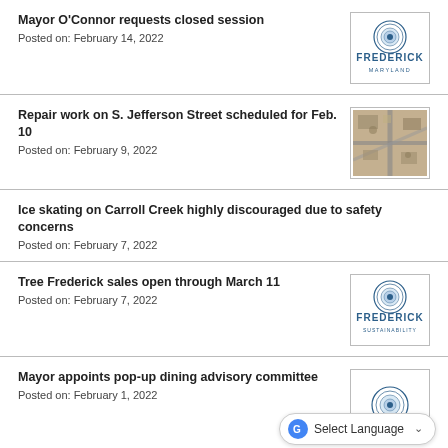Mayor O'Connor requests closed session
Posted on: February 14, 2022
[Figure (logo): Frederick Maryland city seal logo]
Repair work on S. Jefferson Street scheduled for Feb. 10
Posted on: February 9, 2022
[Figure (photo): Aerial photo of S. Jefferson Street area]
Ice skating on Carroll Creek highly discouraged due to safety concerns
Posted on: February 7, 2022
Tree Frederick sales open through March 11
Posted on: February 7, 2022
[Figure (logo): Frederick Sustainability city seal logo]
Mayor appoints pop-up dining advisory committee
Posted on: February 1, 2022
[Figure (logo): Frederick city seal logo (partial)]